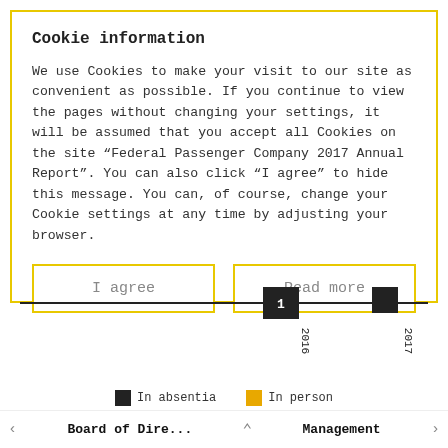Cookie information
We use Cookies to make your visit to our site as convenient as possible. If you continue to view the pages without changing your settings, it will be assumed that you accept all Cookies on the site “Federal Passenger Company 2017 Annual Report”. You can also click “I agree” to hide this message. You can, of course, change your Cookie settings at any time by adjusting your browser.
I agree
Read more
[Figure (infographic): Timeline showing two markers: one labeled '1' at 2016 and one unlabeled marker at 2017, on a horizontal black line.]
In absentia   In person
Board of Dire...    Management